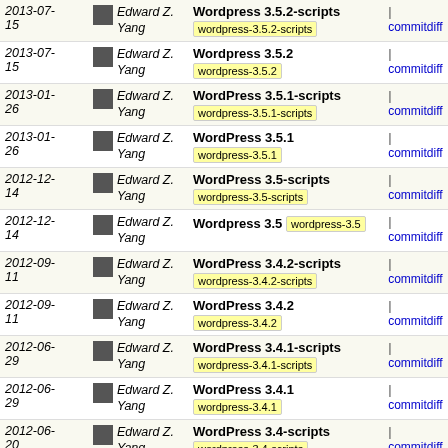| Date | Author | Description | Link |
| --- | --- | --- | --- |
| 2013-07-15 | Edward Z. Yang | Wordpress 3.5.2-scripts | wordpress-3.5.2-scripts | | commitdiff |
| 2013-07-15 | Edward Z. Yang | Wordpress 3.5.2 | wordpress-3.5.2 | | commitdiff |
| 2013-01-26 | Edward Z. Yang | WordPress 3.5.1-scripts | wordpress-3.5.1-scripts | | commitdiff |
| 2013-01-26 | Edward Z. Yang | WordPress 3.5.1 | wordpress-3.5.1 | | commitdiff |
| 2012-12-14 | Edward Z. Yang | WordPress 3.5-scripts | wordpress-3.5-scripts | | commitdiff |
| 2012-12-14 | Edward Z. Yang | Wordpress 3.5 | wordpress-3.5 | | commitdiff |
| 2012-09-11 | Edward Z. Yang | WordPress 3.4.2-scripts | wordpress-3.4.2-scripts | | commitdiff |
| 2012-09-11 | Edward Z. Yang | WordPress 3.4.2 | wordpress-3.4.2 | | commitdiff |
| 2012-06-29 | Edward Z. Yang | WordPress 3.4.1-scripts | wordpress-3.4.1-scripts | | commitdiff |
| 2012-06-29 | Edward Z. Yang | WordPress 3.4.1 | wordpress-3.4.1 | | commitdiff |
| 2012-06-20 | Edward Z. Yang | WordPress 3.4-scripts | wordpress-3.4-scripts | | commitdiff |
| 2012-06-20 | Edward Z. Yang | WordPress 3.4 | wordpress-3.4 | | commitdiff |